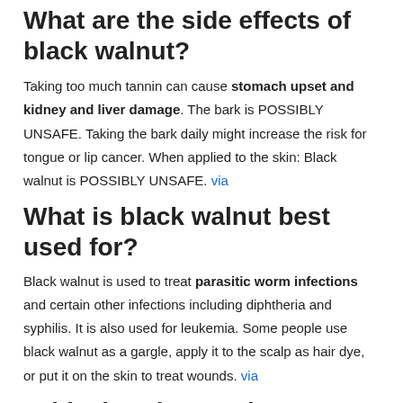What are the side effects of black walnut?
Taking too much tannin can cause stomach upset and kidney and liver damage. The bark is POSSIBLY UNSAFE. Taking the bark daily might increase the risk for tongue or lip cancer. When applied to the skin: Black walnut is POSSIBLY UNSAFE. via
What is black walnut best used for?
Black walnut is used to treat parasitic worm infections and certain other infections including diphtheria and syphilis. It is also used for leukemia. Some people use black walnut as a gargle, apply it to the scalp as hair dye, or put it on the skin to treat wounds. via
Is black walnut toxic to humans?